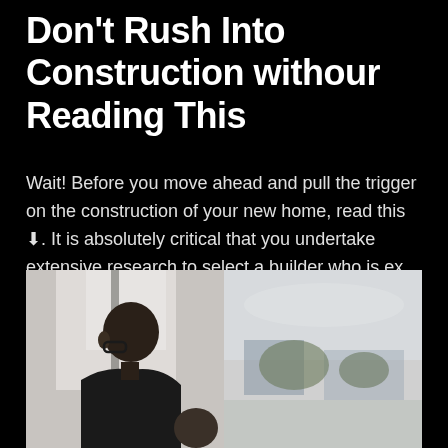Don't Rush Into Construction withour Reading This
Wait! Before you move ahead and pull the trigger on the construction of your new home, read this ⬇. It is absolutely critical that you undertake extensive research to select a builder who is ex ...
[Figure (photo): Two-panel photo: left panel shows a man with glasses in profile/three-quarter view against a bright window background, with partial view of another person at bottom right; right panel shows an outdoor blurred background scene.]